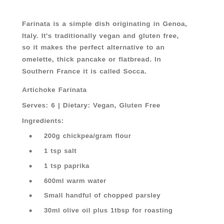Farinata is a simple dish originating in Genoa, Italy. It's traditionally vegan and gluten free, so it makes the perfect alternative to an omelette, thick pancake or flatbread. In Southern France it is called Socca.
Artichoke Farinata
Serves: 6 | Dietary: Vegan, Gluten Free
Ingredients:
200g chickpea/gram flour
1 tsp salt
1 tsp paprika
600ml warm water
Small handful of chopped parsley
30ml olive oil plus 1tbsp for roasting